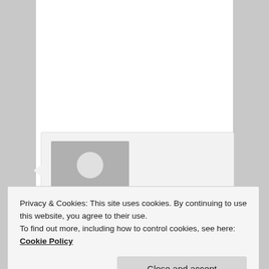[Figure (other): User avatar placeholder image: grey square with white silhouette of a person]
izrabotkasait on September 19, 2017 at 4:26 PM
said:
Hi Esmee,
Do you have histamine problems with raw meat? I
Privacy & Cookies: This site uses cookies. By continuing to use this website, you agree to their use.
To find out more, including how to control cookies, see here: Cookie Policy
Close and accept